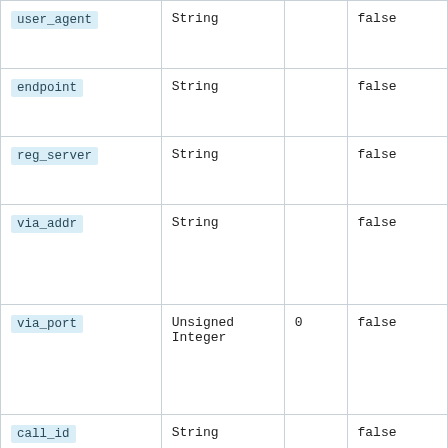| Field | Type | Default | Required |
| --- | --- | --- | --- |
| user_agent | String |  | false |
| endpoint | String |  | false |
| reg_server | String |  | false |
| via_addr | String |  | false |
| via_port | Unsigned Integer | 0 | false |
| call_id | String |  | false |